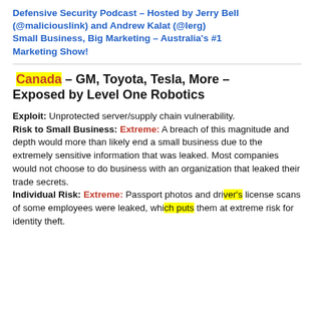Defensive Security Podcast – Hosted by Jerry Bell (@maliciouslink) and Andrew Kalat (@lerg)
Small Business, Big Marketing – Australia's #1 Marketing Show!
Canada – GM, Toyota, Tesla, More – Exposed by Level One Robotics
Exploit: Unprotected server/supply chain vulnerability.
Risk to Small Business: Extreme: A breach of this magnitude and depth would more than likely end a small business due to the extremely sensitive information that was leaked. Most companies would not choose to do business with an organization that leaked their trade secrets.
Individual Risk: Extreme: Passport photos and driver's license scans of some employees were leaked, which puts them at extreme risk for identity theft.